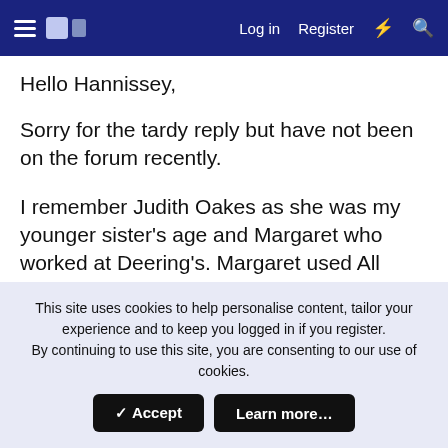Log in  Register
Hello Hannissey,
Sorry for the tardy reply but have not been on the forum recently.
I remember Judith Oakes as she was my younger sister's age and Margaret who worked at Deering's. Margaret used All Saints' church as did we as a family. We lived at 47 Francis Road which overlooked the rear of Tommy Deering's garage with the gully in
This site uses cookies to help personalise content, tailor your experience and to keep you logged in if you register. By continuing to use this site, you are consenting to our use of cookies.